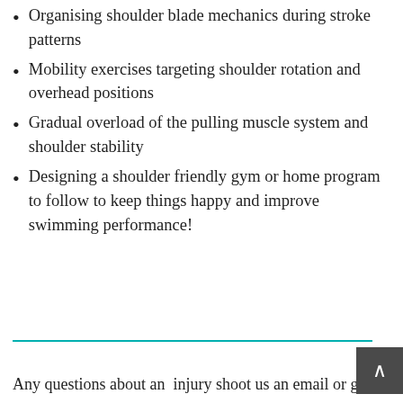Organising shoulder blade mechanics during stroke patterns
Mobility exercises targeting shoulder rotation and overhead positions
Gradual overload of the pulling muscle system and shoulder stability
Designing a shoulder friendly gym or home program to follow to keep things happy and improve swimming performance!
Any questions about an  injury shoot us an email or give